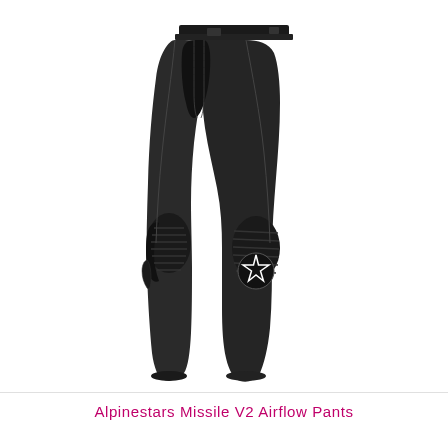[Figure (photo): Alpinestars Missile V2 Airflow Pants — a pair of black motorcycle leather pants shown at an angle, featuring knee armor with the Alpinestars star logo, side vents, and racing-style cut. The pants are displayed without a model, floating on a white background.]
Alpinestars Missile V2 Airflow Pants